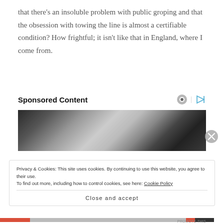that there’s an insoluble problem with public groping and that the obsession with towing the line is almost a certifiable condition? How frightful; it isn’t like that in England, where I come from.
Sponsored Content
[Figure (photo): Black and white close-up photo of a person's face (upper portion, eyes and forehead visible)]
Privacy & Cookies: This site uses cookies. By continuing to use this website, you agree to their use.
To find out more, including how to control cookies, see here: Cookie Policy
Close and accept